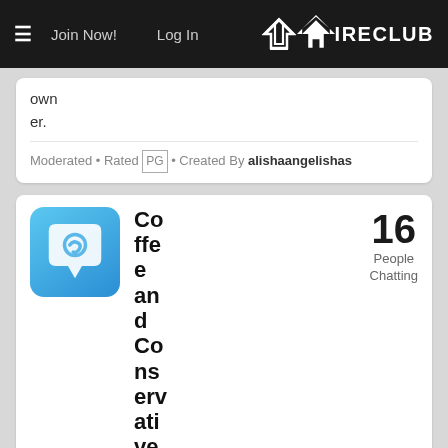≡  Join Now!  Log In  IRECLUB
owner.
Moderated • Rated PG • Created By alishaangelishas
[Figure (illustration): Chat bubble icon on blue rounded square background]
Coffee and Conservatives
16 People Chatting
An area for Con